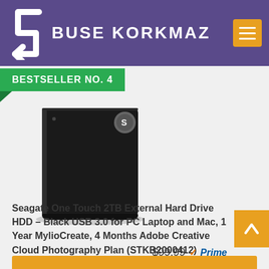BUSE KORKMAZ
BESTSELLER NO. 4
[Figure (photo): Seagate One Touch 2TB external hard drive, black, slim rectangular device with Seagate logo on top corner]
Seagate One Touch 2TB External Hard Drive HDD – Black USB 3.0 for PC Laptop and Mac, 1 Year MylioCreate, 4 Months Adobe Creative Cloud Photography Plan (STKB2000412)
$99.99 ✓Prime